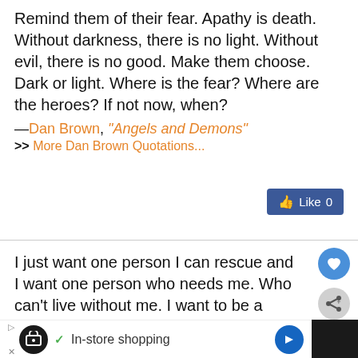Remind them of their fear. Apathy is death. Without darkness, there is no light. Without evil, there is no good. Make them choose. Dark or light. Where is the fear? Where are the heroes? If not now, when?
—Dan Brown, "Angels and Demons"
>> More Dan Brown Quotations...
[Figure (screenshot): Facebook Like button showing 0 likes]
I just want one person I can rescue and I want one person who needs me. Who can't live without me. I want to be a hero, but not just once.
—Chuck Palahniuk, "Choke"
>> More Chuck Palahniuk Quotations...
[Figure (screenshot): Heart/favorite button (blue circle), share button (grey circle), and What's Next panel showing An Old Tree]
[Figure (screenshot): Advertisement bar at bottom: In-store shopping with navigation icons]